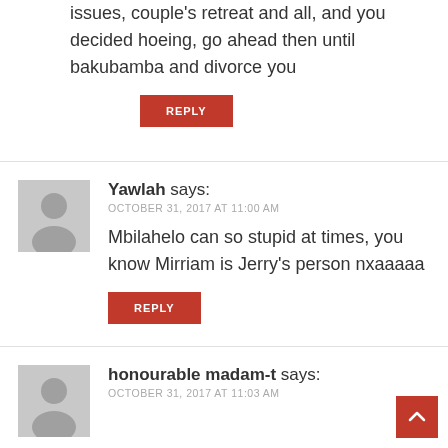issues, couple's retreat and all, and you decided hoeing, go ahead then until bakubamba and divorce you
REPLY
Yawlah says:
OCTOBER 31, 2017 AT 11:00 AM
Mbilahelo can so stupid at times, you know Mirriam is Jerry's person nxaaaaa
REPLY
honourable madam-t says:
OCTOBER 31, 2017 AT 11:03 AM